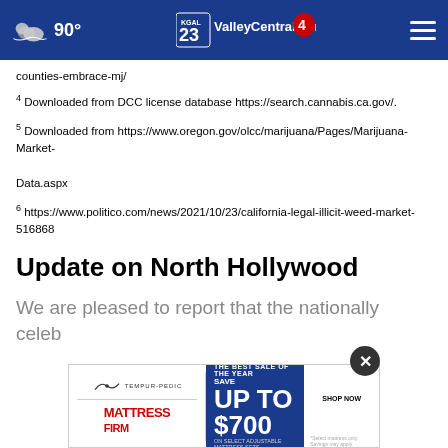90° ValleyCentral.com
counties-embrace-mj/
4 Downloaded from DCC license database https://search.cannabis.ca.gov/.
5 Downloaded from https://www.oregon.gov/olcc/marijuana/Pages/Marijuana-Market-Data.aspx
6 https://www.politico.com/news/2021/10/23/california-legal-illicit-weed-market-516868
Update on North Hollywood
We are pleased to report that the nationally celeb...